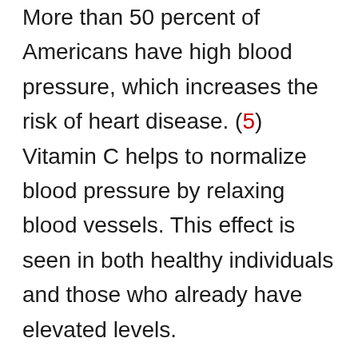More than 50 percent of Americans have high blood pressure, which increases the risk of heart disease. (5) Vitamin C helps to normalize blood pressure by relaxing blood vessels. This effect is seen in both healthy individuals and those who already have elevated levels.
Heart disease is the number one cause of death across the world, and vitamin C also helps to balance cholesterol levels. While cholesterol in and of itself doesn't cause heart disease, when LDL levels become elevated and get oxidized, they can increase plaque build-up in the arteries.
Vitamin C helps to balance cholesterol and